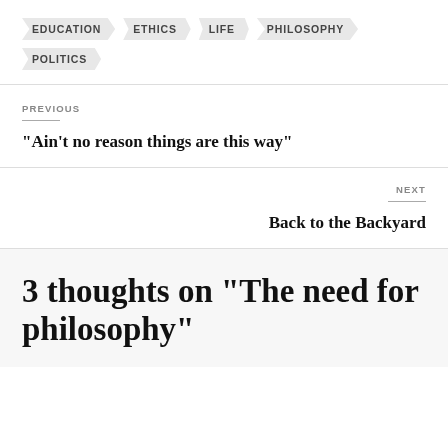EDUCATION
ETHICS
LIFE
PHILOSOPHY
POLITICS
PREVIOUS
“Ain’t no reason things are this way”
NEXT
Back to the Backyard
3 thoughts on “The need for philosophy”